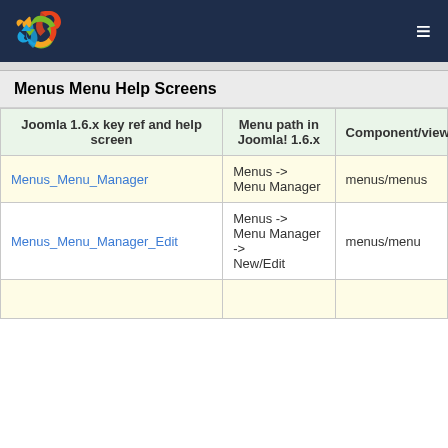Joomla logo and navigation header
Menus Menu Help Screens
| Joomla 1.6.x key ref and help screen | Menu path in Joomla! 1.6.x | Component/view |
| --- | --- | --- |
| Menus_Menu_Manager | Menus -> Menu Manager | menus/menus |
| Menus_Menu_Manager_Edit | Menus -> Menu Manager -> New/Edit | menus/menu |